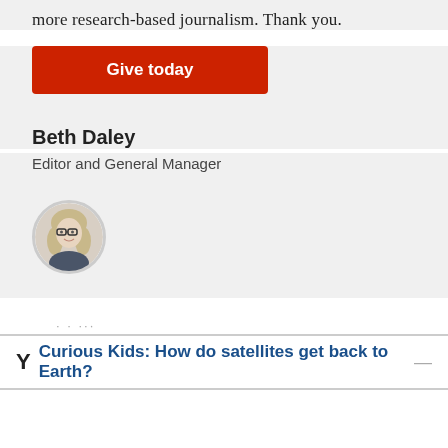more research-based journalism. Thank you.
Give today
Beth Daley
Editor and General Manager
[Figure (photo): Circular portrait photo of Beth Daley]
Y ...
Curious Kids: How do satellites get back to Earth?